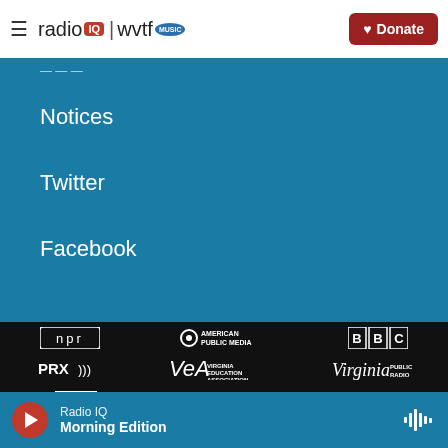[Figure (logo): Radio IQ | WVTF Music logo in header]
[Figure (logo): Red Donate button with heart icon]
Notices
Twitter
Facebook
[Figure (logo): NPR logo (white on black)]
[Figure (logo): American Public Media logo (white on black)]
[Figure (logo): BBC logo (white on black)]
[Figure (logo): PRX logo (white on black)]
[Figure (logo): VEA Virginia Education Association logo (white on black)]
[Figure (logo): Virginia Public Radio logo (white on black)]
[Figure (logo): Partial logo at bottom of black section]
Radio IQ
Morning Edition